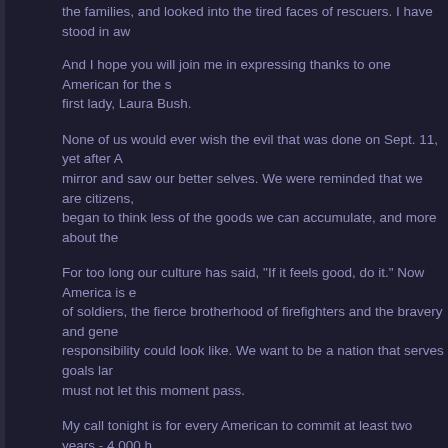the families, and looked into the tired faces of rescuers. I have stood in aw...
And I hope you will join me in expressing thanks to one American for the s... first lady, Laura Bush.
None of us would ever wish the evil that was done on Sept. 11, yet after A... mirror and saw our better selves. We were reminded that we are citizens, ... began to think less of the goods we can accumulate, and more about the ...
For too long our culture has said, "If it feels good, do it." Now America is e... of soldiers, the fierce brotherhood of firefighters and the bravery and gene... responsibility could look like. We want to be a nation that serves goals lar... must not let this moment pass.
My call tonight is for every American to commit at least two years - 4,000 h... and your nation.
Many are already serving, and I thank you. If you aren't sure how to help, ... has emerged in America, I invite you to join the new USA Freedom Corps. ... in case of crisis at home, rebuilding our communities and extending Ameri...
One purpose of the USA Freedom Corps will be homeland security. Ameri... emergencies, volunteers to help police and fire departments, transportatio...
Our country also needs citizens working to rebuild our communities. We n... in prison, and we need more talented teachers in troubled schools. USA F... AmeriCorps and Senior Corps to recruit more than 200,000 new voluntee...
And America needs citizens to extend the compassion of our country to e...